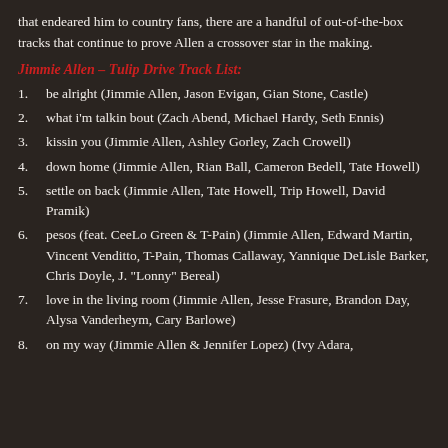that endeared him to country fans, there are a handful of out-of-the-box tracks that continue to prove Allen a crossover star in the making.
Jimmie Allen – Tulip Drive Track List:
be alright (Jimmie Allen, Jason Evigan, Gian Stone, Castle)
what i'm talkin bout (Zach Abend, Michael Hardy, Seth Ennis)
kissin you (Jimmie Allen, Ashley Gorley, Zach Crowell)
down home (Jimmie Allen, Rian Ball, Cameron Bedell, Tate Howell)
settle on back (Jimmie Allen, Tate Howell, Trip Howell, David Pramik)
pesos (feat. CeeLo Green & T-Pain) (Jimmie Allen, Edward Martin, Vincent Venditto, T-Pain, Thomas Callaway, Yannique DeLisle Barker, Chris Doyle, J. "Lonny" Bereal)
love in the living room (Jimmie Allen, Jesse Frasure, Brandon Day, Alysa Vanderheym, Cary Barlowe)
on my way (Jimmie Allen & Jennifer Lopez) (Ivy Adara,